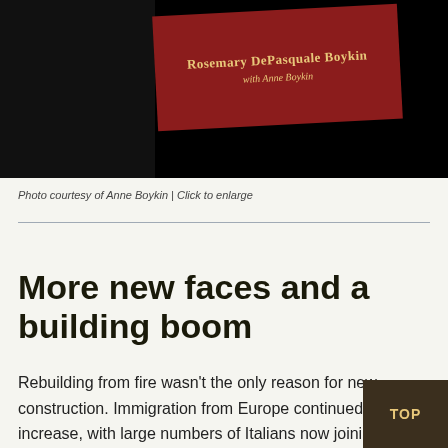[Figure (photo): Book cover on black background — red angled book cover showing 'Rosemary DePasquale Boykin with Anne Boykin' in gold text]
Photo courtesy of Anne Boykin | Click to enlarge
More new faces and a building boom
Rebuilding from fire wasn't the only reason for new construction. Immigration from Europe continued to increase, with large numbers of Italians now joining the Czech, German and Polish populations that were se...